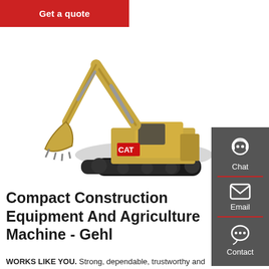[Figure (other): Red button labeled 'Get a quote']
[Figure (photo): CAT yellow excavator/backhoe construction machine on white background]
[Figure (infographic): Dark grey sidebar with Chat (headset icon), Email (envelope icon), and Contact (chat bubble icon) sections separated by red lines]
Compact Construction Equipment And Agriculture Machine - Gehl
WORKS LIKE YOU. Strong, dependable, trustworthy and